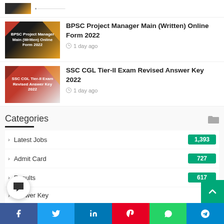[Figure (screenshot): Partial thumbnail of a previous article card at the top]
[Figure (photo): Thumbnail for BPSC Project Manager Main (Written) Online Form 2022, dark background with orange gradient]
BPSC Project Manager Main (Written) Online Form 2022
1 day ago
[Figure (photo): Thumbnail for SSC CGL Tier-II Exam Revised Answer Key 2022, red background]
SSC CGL Tier-II Exam Revised Answer Key 2022
1 day ago
Categories
Latest Jobs  1,393
Admit Card  727
Results  617
Answer Key
Facebook  Twitter  LinkedIn  Pinterest  WhatsApp  Telegram